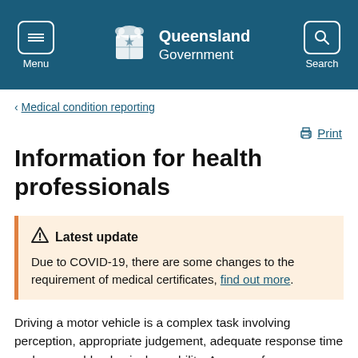Queensland Government — Menu / Search navigation header
< Medical condition reporting
Print
Information for health professionals
⚠ Latest update
Due to COVID-19, there are some changes to the requirement of medical certificates, find out more.
Driving a motor vehicle is a complex task involving perception, appropriate judgement, adequate response time and reasonable physical capability. A range of